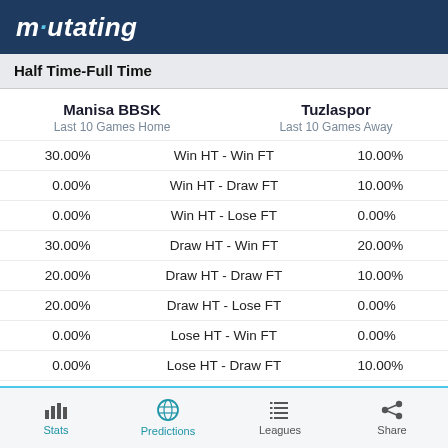mutating
Half Time-Full Time
Manisa BBSK
Last 10 Games Home
Tuzlaspor
Last 10 Games Away
| Manisa BBSK | Outcome | Tuzlaspor |
| --- | --- | --- |
| 30.00% | Win HT - Win FT | 10.00% |
| 0.00% | Win HT - Draw FT | 10.00% |
| 0.00% | Win HT - Lose FT | 0.00% |
| 30.00% | Draw HT - Win FT | 20.00% |
| 20.00% | Draw HT - Draw FT | 10.00% |
| 20.00% | Draw HT - Lose FT | 0.00% |
| 0.00% | Lose HT - Win FT | 0.00% |
| 0.00% | Lose HT - Draw FT | 10.00% |
| 0.00% | Lose HT - Lose FT | 40.00% |
Stats | Predictions | Leagues | Share